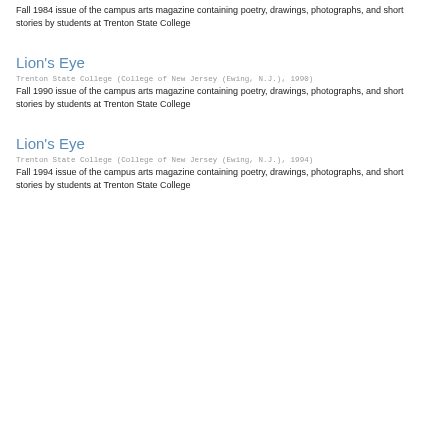Fall 1984 issue of the campus arts magazine containing poetry, drawings, photographs, and short stories by students at Trenton State College
Lion's Eye
Trenton State College (College of New Jersey (Ewing, N.J.), 1990
Fall 1990 issue of the campus arts magazine containing poetry, drawings, photographs, and short stories by students at Trenton State College
Lion's Eye
Trenton State College (College of New Jersey (Ewing, N.J.), 1994)
Fall 1994 issue of the campus arts magazine containing poetry, drawings, photographs, and short stories by students at Trenton State College